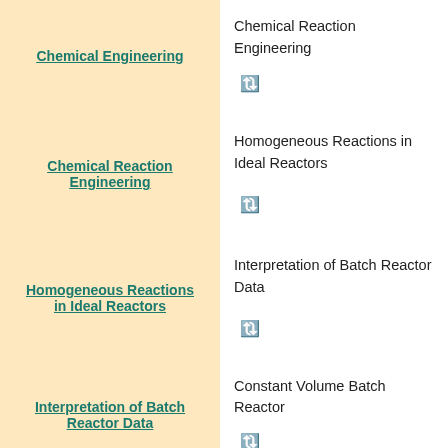Chemical Engineering → Chemical Reaction Engineering ↺
Chemical Reaction Engineering → Homogeneous Reactions in Ideal Reactors ↺
Homogeneous Reactions in Ideal Reactors → Interpretation of Batch Reactor Data ↺
Interpretation of Batch Reactor Data → Constant Volume Batch Reactor ↺
Volume of Solution [V_solution] — value: 10.2, unit: Cubic Meter, +10%, -10%
Concentration of Reactant A [C_A] — value: 1.1, unit: Mole per Meter, +10%, -10%
Stoichiometric Coefficient of — value: 3, +10%, -10%
Share | Facebook | Twitter | WhatsApp | Reddit